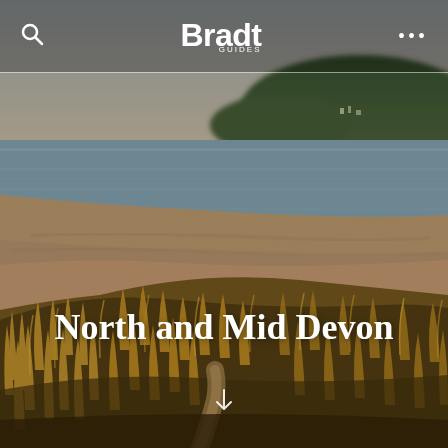[Figure (photo): Coastal beach scene with sand dunes covered in golden-brown marram grass in the foreground, sandy beach and tidal estuary in the middle ground, and a headland with green hills in the background under a hazy sky.]
Bradt GUIDES
North and Mid Devon